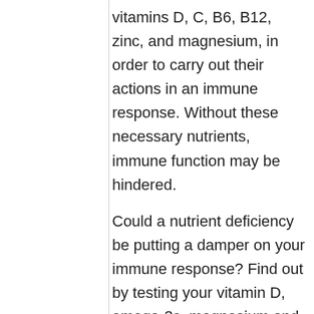vitamins D, C, B6, B12, zinc, and magnesium, in order to carry out their actions in an immune response. Without these necessary nutrients, immune function may be hindered.

Could a nutrient deficiency be putting a damper on your immune response? Find out by testing your vitamin D, omega-3s, magnesium and other essential elements (including selenium), as well as your inflammation levels, with the new Immune Boost home test kit offered by GrassrootsHealth. Measuring levels is the only way to know if you are